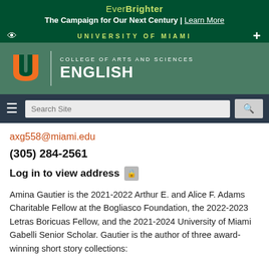EverBrighter — The Campaign for Our Next Century | Learn More
UNIVERSITY OF MIAMI
[Figure (logo): University of Miami College of Arts and Sciences English department logo with UM hurricane logo]
axg558@miami.edu
(305) 284-2561
Log in to view address
Amina Gautier is the 2021-2022 Arthur E. and Alice F. Adams Charitable Fellow at the Bogliasco Foundation, the 2022-2023 Letras Boricuas Fellow, and the 2021-2024 University of Miami Gabelli Senior Scholar. Gautier is the author of three award-winning short story collections: